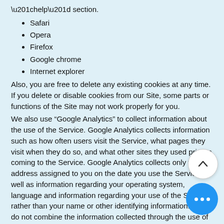“help” section.
Safari
Opera
Firefox
Google chrome
Internet explorer
Also, you are free to delete any existing cookies at any time. If you delete or disable cookies from our Site, some parts or functions of the Site may not work properly for you.
We also use “Google Analytics” to collect information about the use of the Service. Google Analytics collects information such as how often users visit the Service, what pages they visit when they do so, and what other sites they used prior to coming to the Service. Google Analytics collects only the IP address assigned to you on the date you use the Service, as well as information regarding your operating system, language and information regarding your use of the Service, rather than your name or other identifying information. We do not combine the information collected through the use of Google Analytics with Personal Information. We use the information we get from Google Analytics only to improve the Service. Google’s ability to use and share information collected by Google Analytics about your use of the Service is restricted by the Google